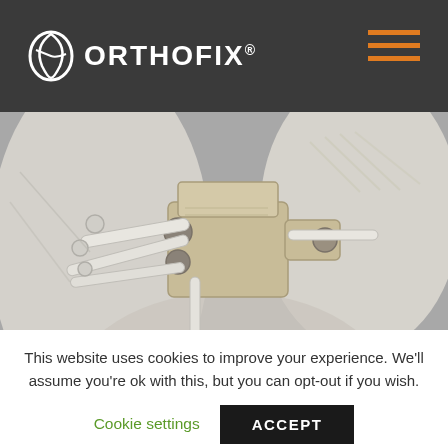ORTHOFIX
[Figure (photo): Close-up illustration/render of a spinal or orthopedic fixation device (fixator/plate with screws) attached to white bone, shown on a gray background.]
This website uses cookies to improve your experience. We'll assume you're ok with this, but you can opt-out if you wish.
Cookie settings   ACCEPT